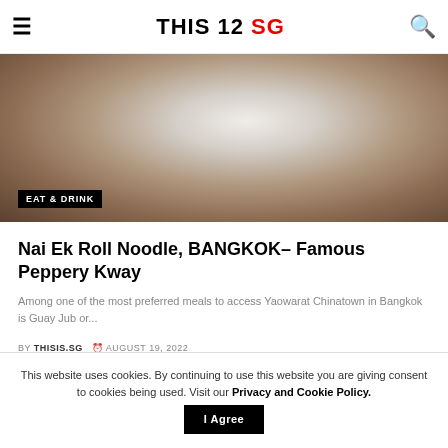THIS IS SG
[Figure (photo): Food photo showing a bowl of noodles/guay jub on a wooden table surface, partially cropped at top]
EAT & DRINK
Nai Ek Roll Noodle, BANGKOK– Famous Peppery Kway
Among one of the most preferred meals to access Yaowarat Chinatown in Bangkok is Guay Jub or...
BY THISIS.SG  AUGUST 19, 2022
[Figure (other): Advertisement placeholder block]
This website uses cookies. By continuing to use this website you are giving consent to cookies being used. Visit our Privacy and Cookie Policy.